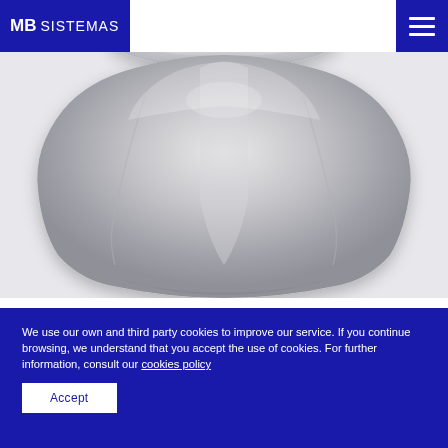MB SISTEMAS
[Figure (illustration): 3D render of a silver car hood/bonnet panel shown from above at an angle, displayed against a light gray background. A partial view of another panel is visible at the top.]
We use our own and third party cookies to improve our service. If you continue browsing, we understand that you accept the use of cookies. For further information, consult our cookies policy
Accept